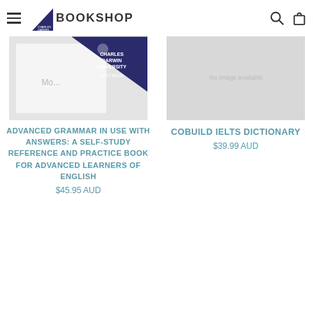BOOKSHOP
[Figure (photo): Book cover for Advanced Grammar in Use with a dark blue triangular badge showing Charles Darwin University logo]
ADVANCED GRAMMAR IN USE WITH ANSWERS: A SELF-STUDY REFERENCE AND PRACTICE BOOK FOR ADVANCED LEARNERS OF ENGLISH
$45.95 AUD
[Figure (photo): Book cover for COBUILD IELTS Dictionary, light grey placeholder image with faint placeholder text]
COBUILD IELTS DICTIONARY
$39.99 AUD